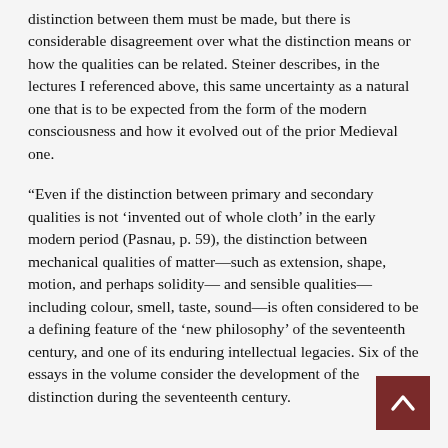distinction between them must be made, but there is considerable disagreement over what the distinction means or how the qualities can be related. Steiner describes, in the lectures I referenced above, this same uncertainty as a natural one that is to be expected from the form of the modern consciousness and how it evolved out of the prior Medieval one.
“Even if the distinction between primary and secondary qualities is not ‘invented out of whole cloth’ in the early modern period (Pasnau, p. 59), the distinction between mechanical qualities of matter—such as extension, shape, motion, and perhaps solidity— and sensible qualities—including colour, smell, taste, sound—is often considered to be a defining feature of the ‘new philosophy’ of the seventeenth century, and one of its enduring intellectual legacies. Six of the essays in the volume consider the development of the distinction during the seventeenth century.